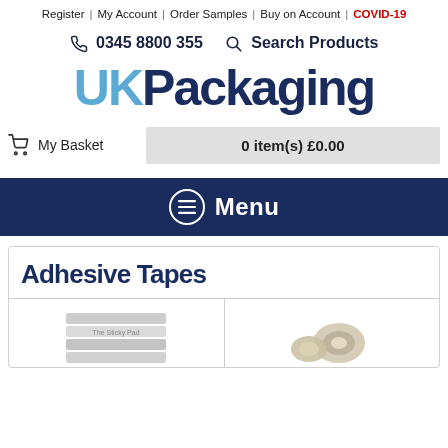Register | My Account | Order Samples | Buy on Account | COVID-19
📞 0345 8800 355  🔍 Search Products
[Figure (logo): UK Packaging logo with 'UK' in blue and 'Packaging' in dark navy]
🛒 My Basket   0 item(s) £0.00
☰ Menu
Adhesive Tapes
[Figure (photo): Two product images: stacked tape rolls on the left, a tape roll on the right]